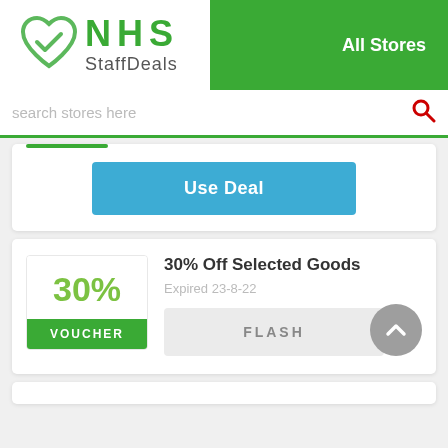[Figure (logo): NHS StaffDeals logo with heart and checkmark icon in green, text 'NHS StaffDeals']
All Stores
search stores here
Use Deal
[Figure (other): Voucher box showing 30% with green VOUCHER label]
30% Off Selected Goods
Expired 23-8-22
FLASH